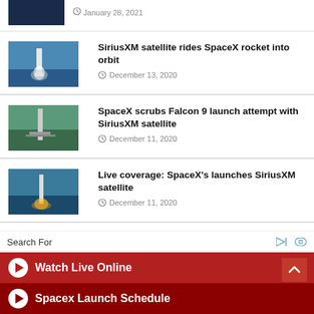[Figure (photo): News thumbnail - top partial item with dark space/rocket image]
January 28, 2021
[Figure (photo): Rocket launch thumbnail - SpaceX Falcon 9 with SiriusXM satellite, launch pad with smoke]
SiriusXM satellite rides SpaceX rocket into orbit
December 13, 2020
[Figure (photo): Aerial view of SpaceX Falcon 9 rocket on launch pad]
SpaceX scrubs Falcon 9 launch attempt with SiriusXM satellite
December 11, 2020
[Figure (photo): SpaceX rocket launch at dusk/night with flame]
Live coverage: SpaceX's launches SiriusXM satellite
December 11, 2020
Search For
Watch Live Online
Spacex Launch Schedule